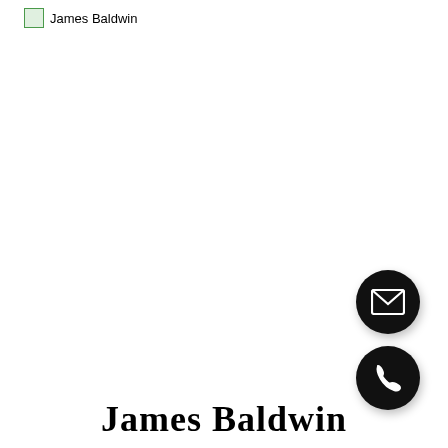[Figure (logo): James Baldwin logo image with broken image icon and text label 'James Baldwin']
[Figure (illustration): Two black circular icon buttons on the right side: top button has an envelope/mail icon, bottom button has a phone icon]
James Baldwin